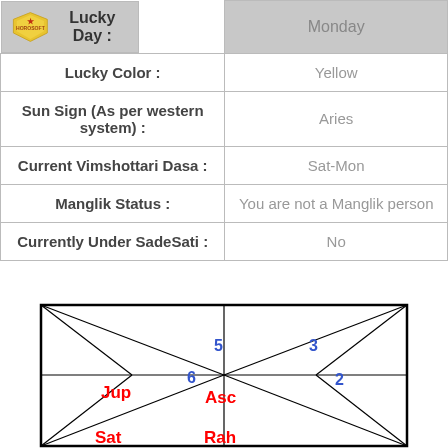|  |  |
| --- | --- |
| Lucky Day : | Monday |
| Lucky Color : | Yellow |
| Sun Sign (As per western system) : | Aries |
| Current Vimshottari Dasa : | Sat-Mon |
| Manglik Status : | You are not a Manglik person |
| Currently Under SadeSati : | No |
[Figure (other): Vedic astrology birth chart (kundali) diagram showing house positions with labels: Jup (Jupiter), 5, 6, Asc (Ascendant), 3, 2, Sat (partially visible), Rah (partially visible) in a diamond-grid layout with crossing diagonal lines]